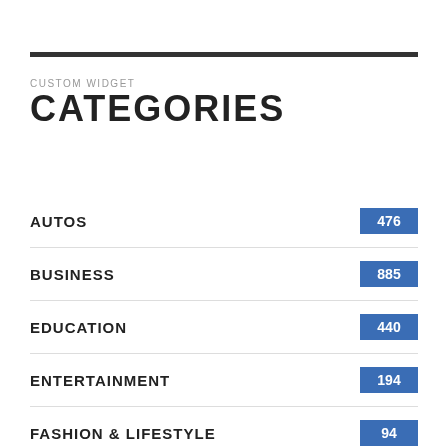CUSTOM WIDGET
CATEGORIES
AUTOS 476
BUSINESS 885
EDUCATION 440
ENTERTAINMENT 194
FASHION & LIFESTYLE 94
FINANCE & MONEY 238